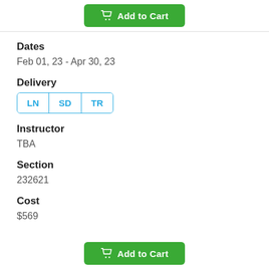[Figure (other): Add to Cart button (green) at top of page]
Dates
Feb 01, 23 - Apr 30, 23
Delivery
LN  SD  TR
Instructor
TBA
Section
232621
Cost
$569
[Figure (other): Add to Cart button (green) at bottom of page]